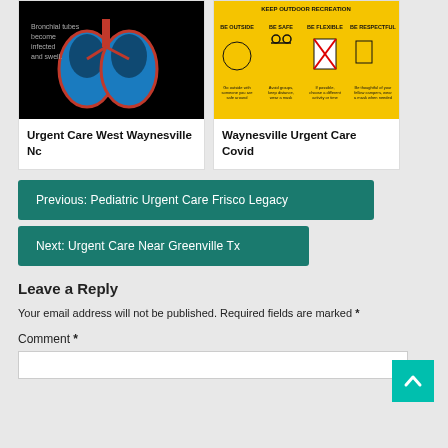[Figure (illustration): Medical illustration on black background showing lungs with bronchial tubes infected and swollen, with text 'Bronchial tubes become infected and swell.']
Urgent Care West Waynesville Nc
[Figure (infographic): Yellow infographic about outdoor recreation safety guidelines with icons: BE OUTSIDE, BE SAFE, BE FLEXIBLE, BE RESPECTFUL with KOA logo]
Waynesville Urgent Care Covid
Previous: Pediatric Urgent Care Frisco Legacy
Next: Urgent Care Near Greenville Tx
Leave a Reply
Your email address will not be published. Required fields are marked *
Comment *